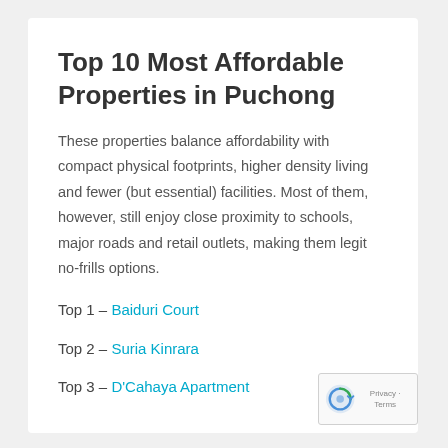Top 10 Most Affordable Properties in Puchong
These properties balance affordability with compact physical footprints, higher density living and fewer (but essential) facilities. Most of them, however, still enjoy close proximity to schools, major roads and retail outlets, making them legit no-frills options.
Top 1 – Baiduri Court
Top 2 – Suria Kinrara
Top 3 – D'Cahaya Apartment